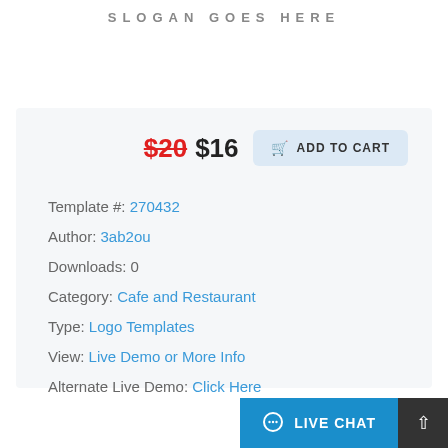SLOGAN GOES HERE
$20 $16 ADD TO CART
Template #: 270432
Author: 3ab2ou
Downloads: 0
Category: Cafe and Restaurant
Type: Logo Templates
View: Live Demo or More Info
Alternate Live Demo: Click Here
LIVE CHAT